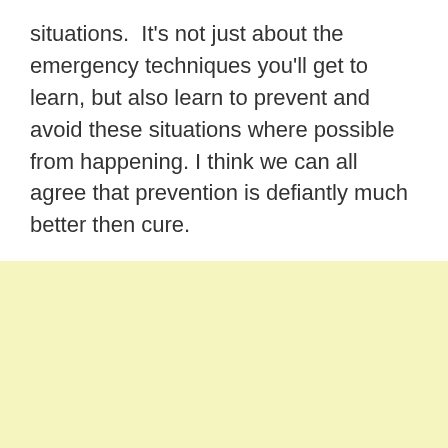situations.  It's not just about the emergency techniques you'll get to learn, but also learn to prevent and avoid these situations where possible from happening. I think we can all agree that prevention is defiantly much better then cure.